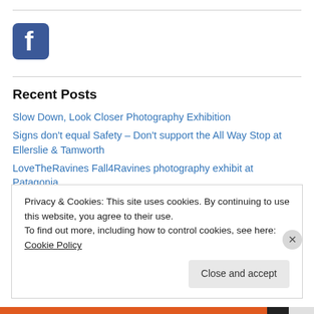[Figure (logo): Facebook logo icon — blue rounded square with white 'f']
Recent Posts
Slow Down, Look Closer Photography Exhibition
Signs don't equal Safety – Don't support the All Way Stop at Ellerslie & Tamworth
LoveTheRavines Fall4Ravines photography exhibit at Patagonia
Risk Obtuse and Danger Perception
3rd Place – Flora in the SCB-Toronto Photo Contest
Privacy & Cookies: This site uses cookies. By continuing to use this website, you agree to their use.
To find out more, including how to control cookies, see here: Cookie Policy
Close and accept